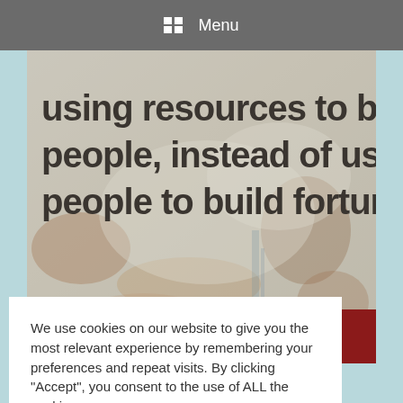Menu
[Figure (photo): Distressed painted wall background with large bold text reading 'using resources to build up people, instead of using people to build fortunes.' with website URL www.haycreekcompanies.com at the bottom on a dark red bar.]
We use cookies on our website to give you the most relevant experience by remembering your preferences and repeat visits. By clicking “Accept”, you consent to the use of ALL the cookies.
Cookie settings  ACCEPT